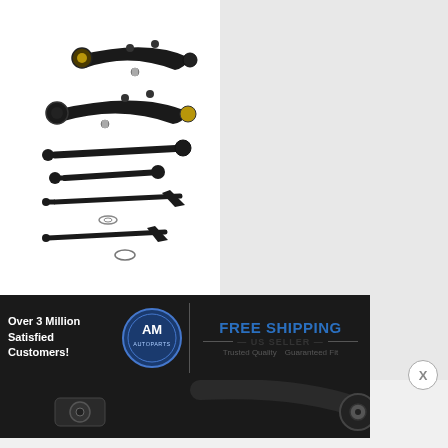[Figure (photo): Auto suspension and steering parts kit: two lower control arms with ball joints, outer and inner tie rod ends, sway bar links and related hardware, laid out on white background]
[Figure (photo): Banner/advertisement strip: AM Autoparts logo (circular blue badge), text 'Over 3 Million Satisfied Customers!', FREE SHIPPING, US SELLER, Trusted Quality, Guaranteed Fit]
[Figure (photo): Close-up photo of a control arm bushing end (rubber/steel bushing visible) and partial control arm on dark background]
X